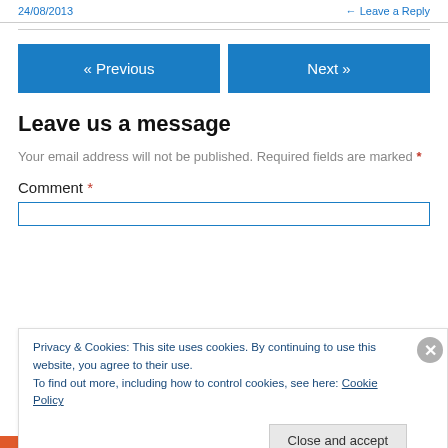24/08/2013 ← Leave a Reply
« Previous    Next »
Leave us a message
Your email address will not be published. Required fields are marked *
Comment *
Privacy & Cookies: This site uses cookies. By continuing to use this website, you agree to their use.
To find out more, including how to control cookies, see here: Cookie Policy
Close and accept